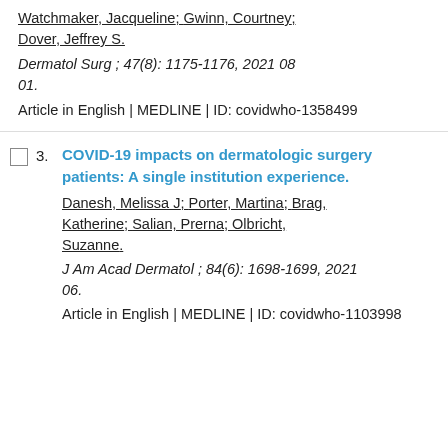Watchmaker, Jacqueline; Gwinn, Courtney; Dover, Jeffrey S.
Dermatol Surg ; 47(8): 1175-1176, 2021 08 01.
Article in English | MEDLINE | ID: covidwho-1358499
3. COVID-19 impacts on dermatologic surgery patients: A single institution experience.
Danesh, Melissa J; Porter, Martina; Brag, Katherine; Salian, Prerna; Olbricht, Suzanne.
J Am Acad Dermatol ; 84(6): 1698-1699, 2021 06.
Article in English | MEDLINE | ID: covidwho-1103998